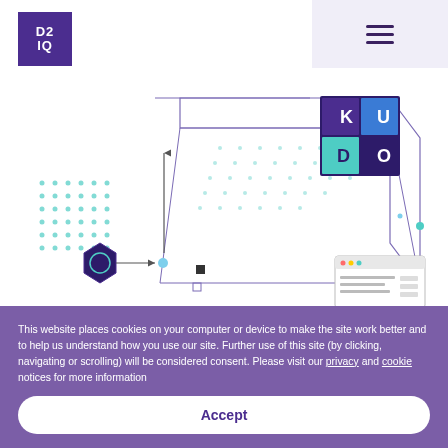D2IQ
[Figure (illustration): Isometric illustration showing a 3D platform/box with KUDO branding (letters K, U, D, O in colored squares), dot grid patterns, geometric shapes including a dark hexagon, arrows, circles, and a UI window element. Purple and teal color scheme on white background.]
KUDO accepted as a CNCF Sandbox project
This website places cookies on your computer or device to make the site work better and to help us understand how you use our site. Further use of this site (by clicking, navigating or scrolling) will be considered consent. Please visit our privacy and cookie notices for more information
Accept